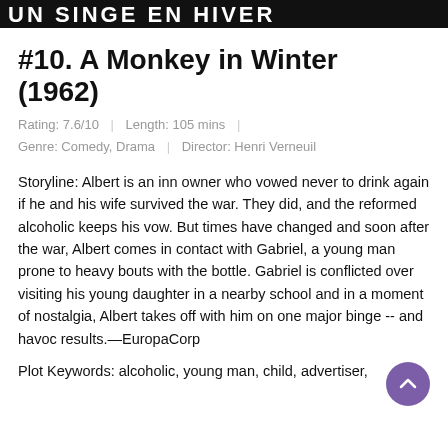[Figure (photo): Black and white banner image with stylized bold movie title text partially visible at top of page]
#10. A Monkey in Winter (1962)
Rating: 7.6/10  |  Length: 105 mins  |  Genre: Comedy, Drama  |  Director: Henri Verneuil
Storyline: Albert is an inn owner who vowed never to drink again if he and his wife survived the war. They did, and the reformed alcoholic keeps his vow. But times have changed and soon after the war, Albert comes in contact with Gabriel, a young man prone to heavy bouts with the bottle. Gabriel is conflicted over visiting his young daughter in a nearby school and in a moment of nostalgia, Albert takes off with him on one major binge -- and havoc results.—EuropaCorp
Plot Keywords: alcoholic, young man, child, advertiser,